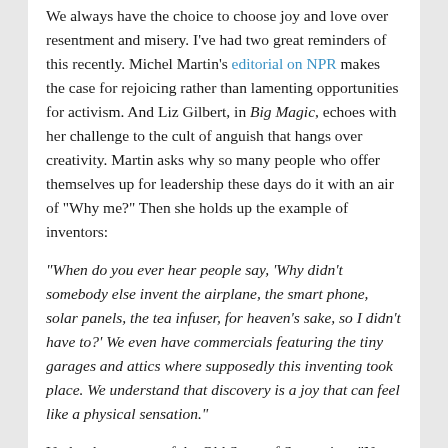We always have the choice to choose joy and love over resentment and misery. I've had two great reminders of this recently. Michel Martin's editorial on NPR makes the case for rejoicing rather than lamenting opportunities for activism. And Liz Gilbert, in Big Magic, echoes with her challenge to the cult of anguish that hangs over creativity. Martin asks why so many people who offer themselves up for leadership these days do it with an air of "Why me?" Then she holds up the example of inventors:
"When do you ever hear people say, 'Why didn't somebody else invent the airplane, the smart phone, solar panels, the tea infuser, for heaven's sake, so I didn't have to?' We even have commercials featuring the tiny garages and attics where supposedly this inventing took place. We understand that discovery is a joy that can feel like a physical sensation."
Under the tyranny of the Old Story of Separation, "No pain, no gain" is infused into everything we value most. War metaphors may be the currency of our culture, but I wonder if our allegiance to struggle and competitiveness is thinning what could be a much-needed flood of